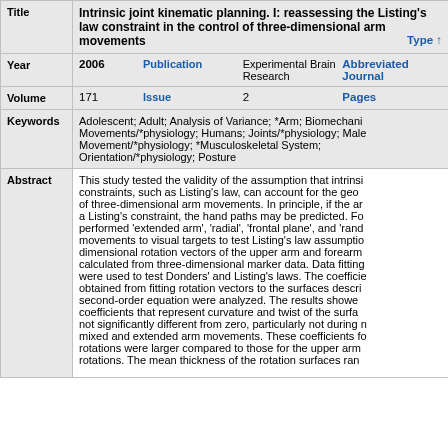| Title | Intrinsic joint kinematic planning. I: reassessing the Listing's law constraint in the control of three-dimensional arm movements | Type |
| Year | 2006 | Publication | Experimental Brain Research | Abbreviated Journal |
| Volume | 171 | Issue | 2 | Pages |
| Keywords | Adolescent; Adult; Analysis of Variance; *Arm; Biomechanical Movements/*physiology; Humans; Joints/*physiology; Male; Movement/*physiology; *Musculoskeletal System; Orientation/*physiology; Posture |
| Abstract | This study tested the validity of the assumption that intrinsic constraints, such as Listing's law, can account for the geometry of three-dimensional arm movements. In principle, if the arm follows a Listing's constraint, the hand paths may be predicted. Fo... performed 'extended arm', 'radial', 'frontal plane', and 'rand... movements to visual targets to test Listing's law assumptio... dimensional rotation vectors of the upper arm and forearm... calculated from three-dimensional marker data. Data fitting... were used to test Donders' and Listing's laws. The coefficie... obtained from fitting rotation vectors to the surfaces descri... second-order equation were analyzed. The results showe... coefficients that represent curvature and twist of the surfa... not significantly different from zero, particularly not during n... mixed and extended arm movements. These coefficients f... rotations were larger compared to those for the upper arm... rotations. The mean thickness of the rotation surfaces ran... |